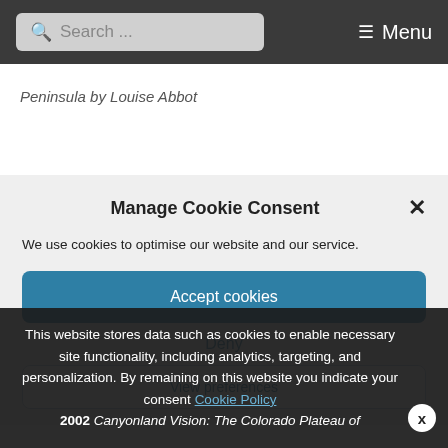Search ... ☰ Menu
Peninsula by Louise Abbot
Manage Cookie Consent
We use cookies to optimise our website and our service.
Accept cookies
Deny
View preferences
Groped by Frank Armstrong
This website stores data such as cookies to enable necessary site functionality, including analytics, targeting, and personalization. By remaining on this website you indicate your consent Cookie Policy
2002 Canyonland Vision: The Colorado Plateau of